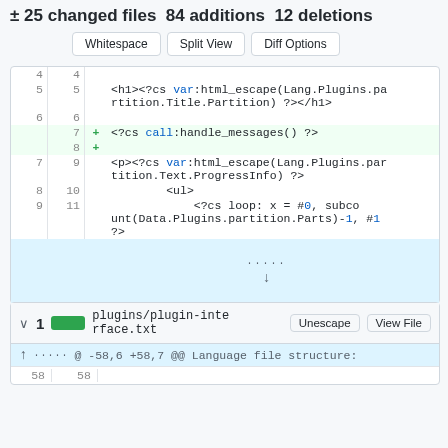± 25 changed files  84 additions  12 deletions
[Figure (screenshot): Diff viewer UI with Whitespace, Split View, Diff Options buttons and code diff showing added lines for handle_messages and html_escape template code]
[Figure (screenshot): Second diff section showing plugins/plugin-interface.txt file with @ -58,6 +58,7 @@ Language file structure: hunk header]